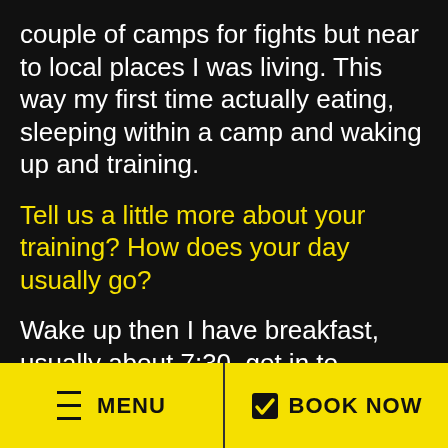couple of camps for fights but near to local places I was living. This way my first time actually eating, sleeping within a camp and waking up and training.
Tell us a little more about your training? How does your day usually go?
Wake up then I have breakfast, usually about 7:30, get in to training about 9:00, and I train for about an hour. I rest throughout the day and then train for another couple of hours in the evening.
MENU   BOOK NOW